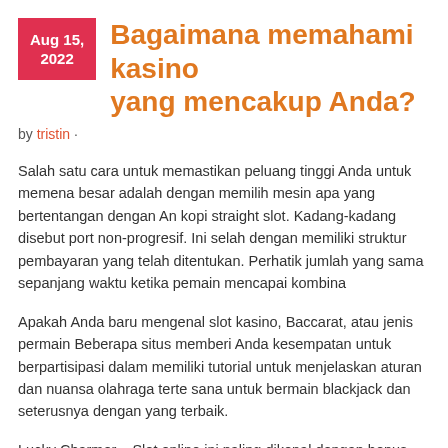Bagaimana memahami kasino yang mencakup Anda?
by tristin ·
Salah satu cara untuk memastikan peluang tinggi Anda untuk memena... besar adalah dengan memilih mesin apa yang bertentangan dengan Ar... kopi straight slot. Kadang-kadang disebut port non-progresif. Ini selah dengan memiliki struktur pembayaran yang telah ditentukan. Perhatik... jumlah yang sama sepanjang waktu ketika pemain mencapai kombina...
Apakah Anda baru mengenal slot kasino, Baccarat, atau jenis permain... Beberapa situs memberi Anda kesempatan untuk berpartisipasi dalam memiliki tutorial untuk menjelaskan aturan dan nuansa olahraga terten... sana untuk bermain blackjack dan seterusnya dengan yang terbaik.
Lucky Charmer – Slot online ini paling dikenal dengan bonus bagus. layar kedua. Benar-benar beberapa 3 pipa musik, ketika Anda tiba di b...